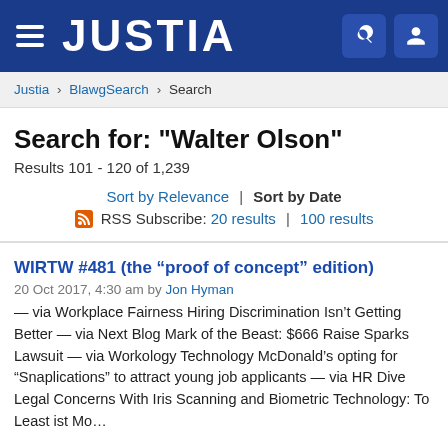JUSTIA
Justia › BlawgSearch › Search
Search for: "Walter Olson"
Results 101 - 120 of 1,239
Sort by Relevance | Sort by Date
RSS Subscribe: 20 results | 100 results
WIRTW #481 (the “proof of concept” edition)
20 Oct 2017, 4:30 am by Jon Hyman
— via Workplace Fairness Hiring Discrimination Isn’t Getting Better — via Next Blog Mark of the Beast: $666 Raise Sparks Lawsuit — via Workology Technology McDonald’s opting for “Snaplications” to attract young job applicants — via HR Dive Legal Concerns With Iris Scanning and Biometric Technology: To Least ist Mo...